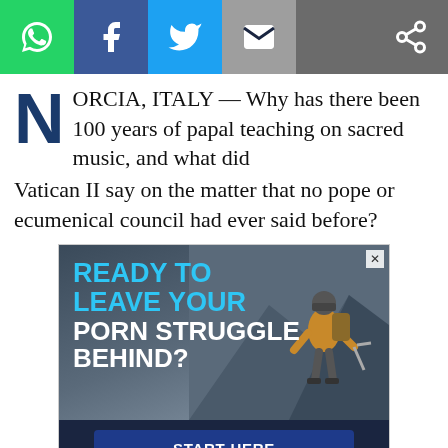[Figure (other): Social sharing bar with icons: WhatsApp (green), Facebook (blue), Twitter (light blue), Email (grey), Share (grey)]
NORCIA, ITALY — Why has there been 100 years of papal teaching on sacred music, and what did Vatican II say on the matter that no pope or ecumenical council had ever said before?
[Figure (infographic): Advertisement: 'READY TO LEAVE YOUR PORN STRUGGLE BEHIND?' with a mountaineer photo, START HERE button, CovenantEyes and STRIVE logos]